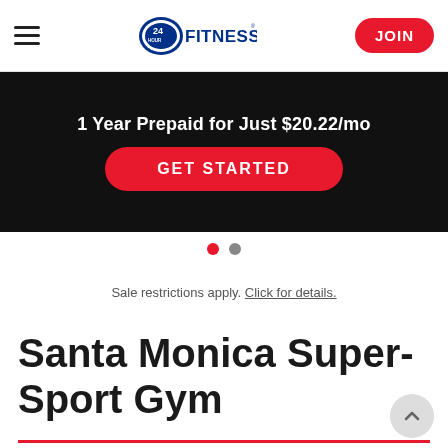24 Hour Fitness — Navigation bar with hamburger menu, logo, and JOIN button
[Figure (screenshot): 24 Hour Fitness promotional banner: '1 Year Prepaid for Just $20.22/mo' with a red GET STARTED button on black background]
Sale restrictions apply. Click for details.
Santa Monica Super-Sport Gym
At 24 Hour Fitness, we see our clubs as your ultimate daily retreat, where motivation and